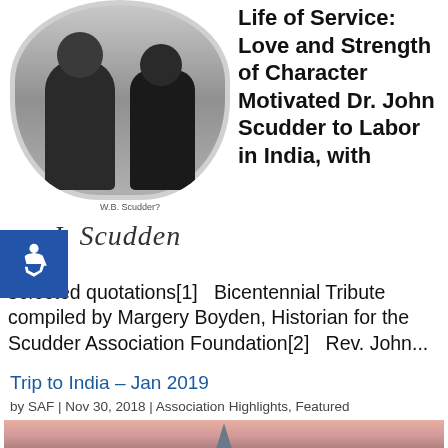[Figure (illustration): Black and white oval portrait photograph of a man and woman (Dr. John Scudder and wife) in 19th century attire, with a handwritten signature 'J. Scudder' below and a small caption text in the middle]
Life of Service: Love and Strength of Character Motivated Dr. John Scudder to Labor in India, with selected quotations[1]   Bicentennial Tribute compiled by Margery Boyden, Historian for the Scudder Association Foundation[2]   Rev. John...
Trip to India – Jan 2019
by SAF | Nov 30, 2018 | Association Highlights, Featured
[Figure (photo): Bottom strip of a photograph showing a reddish-pink sky background with a dark silhouette of a building or tower]